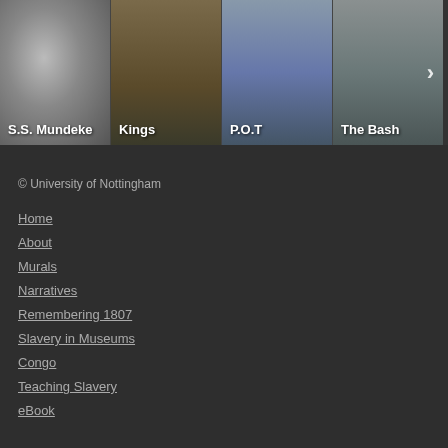[Figure (photo): Horizontal scrollable image strip showing four thumbnail images with labels: S.S. Mundeke (portrait photo), Kings (storefront photo), P.O.T (street scene), The Bash (street with closed shops). A right-arrow navigation button is visible on the right side.]
© University of Nottingham
Home
About
Murals
Narratives
Remembering 1807
Slavery in Museums
Congo
Teaching Slavery
eBook
Privacy and Cookies